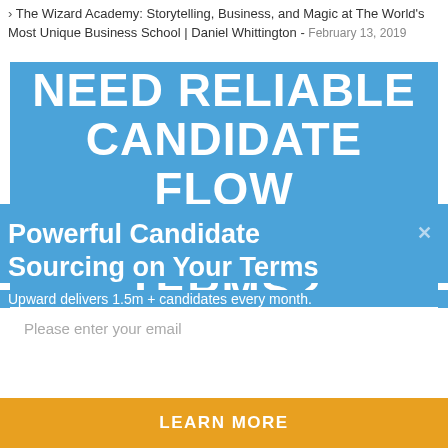> The Wizard Academy: Storytelling, Business, and Magic at The World's Most Unique Business School | Daniel Whittington - February 13, 2019
[Figure (illustration): Blue banner advertisement with bold white uppercase text reading 'NEED RELIABLE CANDIDATE FLOW ON YOUR TERMS?' where 'YOUR' is italicized and underlined]
Powerful Candidate Sourcing on Your Terms
Upward delivers 1.5m + candidates every month.
Please enter your email
LEARN MORE